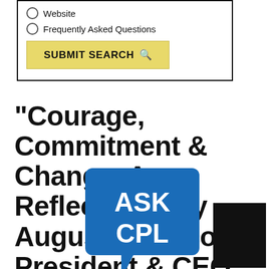Website
Frequently Asked Questions
SUBMIT SEARCH
“Courage, Commitment & Change. A Reflection.” By August A. Napoli, President & CEO of United Way of Greater Cleveland
[Figure (logo): ASK CPL speech bubble logo in blue with white text]